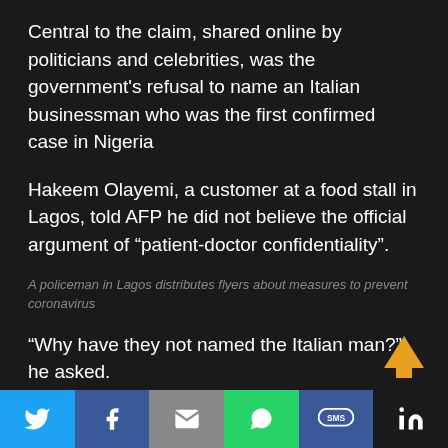Central to the claim, shared online by politicians and celebrities, was the government's refusal to name an Italian businessman who was the first confirmed case in Nigeria
Hakeem Olayemi, a customer at a food stall in Lagos, told AFP he did not believe the official argument of “patient-doctor confidentiality”.
A policeman in Lagos distributes flyers about measures to prevent coronavirus
“Why have they not named the Italian man?” he asked.
With the number of confirmed cases nearing 50, opinion polls show the government is struggling to share accurate COVID-19 information despite launching an extensive online campaign